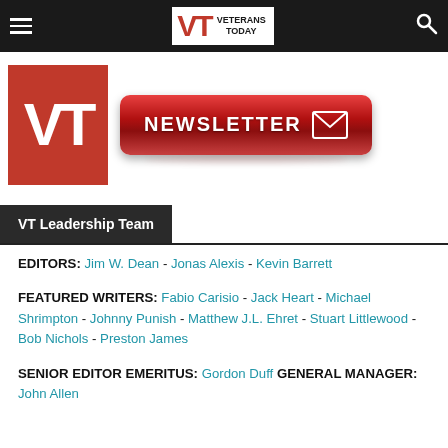[Figure (logo): Veterans Today website navigation bar with hamburger menu, VT logo with 'VETERANS TODAY' text, and search icon on dark background]
[Figure (logo): Large red VT logo box and red Newsletter button with envelope icon]
VT Leadership Team
EDITORS: Jim W. Dean - Jonas Alexis - Kevin Barrett
FEATURED WRITERS: Fabio Carisio - Jack Heart - Michael Shrimpton - Johnny Punish - Matthew J.L. Ehret - Stuart Littlewood - Bob Nichols - Preston James
SENIOR EDITOR EMERITUS: Gordon Duff GENERAL MANAGER: John Allen